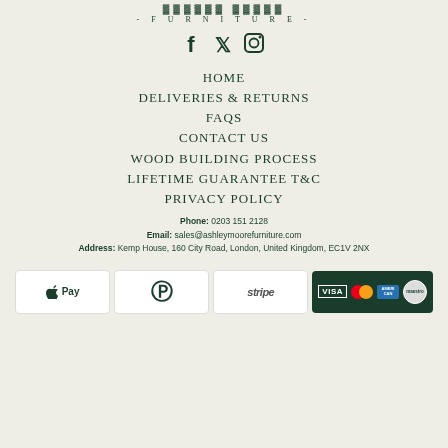- FURNITURE -
[Figure (illustration): Social media icons: Facebook (f), Twitter (bird), Instagram (camera outline)]
HOME
DELIVERIES & RETURNS
FAQS
CONTACT US
WOOD BUILDING PROCESS
LIFETIME GUARANTEE T&C
PRIVACY POLICY
Phone: 0203 151 2128
Email: sales@ashleymoorefurniture.com
Address: Kemp House, 160 City Road, London, United Kingdom, EC1V 2NX
[Figure (logo): Payment method logos: Apple Pay, PayPal, Stripe, Visa, Mastercard, American Express, Maestro]